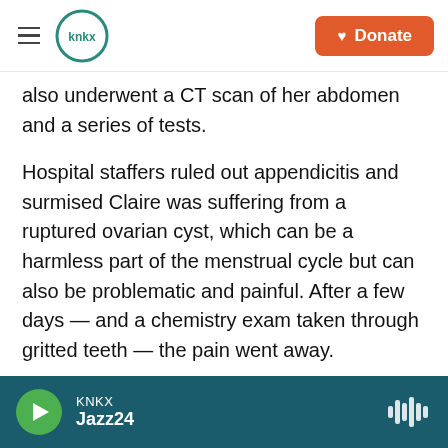KNKX | Donate
also underwent a CT scan of her abdomen and a series of tests.
Hospital staffers ruled out appendicitis and surmised Claire was suffering from a ruptured ovarian cyst, which can be a harmless part of the menstrual cycle but can also be problematic and painful. After a few days — and a chemistry exam taken through gritted teeth — the pain went away.
Then the bill came.
Patient: Claire Lang-Ree, a 21-year-old Stanford
KNKX Jazz24